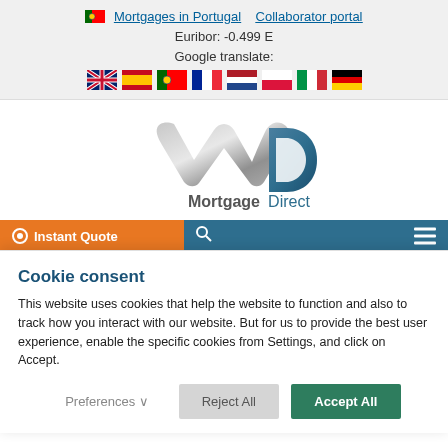Mortgages in Portugal   Collaborator portal
Euribor: -0.499 E
Google translate:
[Figure (illustration): Row of country flag icons: UK, Spain, Portugal, France, Netherlands, Poland, Italy, Germany]
[Figure (logo): Mortgage Direct logo — stylized silver M and D letters above text 'Mortgage Direct']
[Figure (screenshot): Navigation bar with orange 'Instant Quote' button, search icon, and hamburger menu on teal background]
Cookie consent
This website uses cookies that help the website to function and also to track how you interact with our website. But for us to provide the best user experience, enable the specific cookies from Settings, and click on Accept.
Preferences ∨   Reject All   Accept All